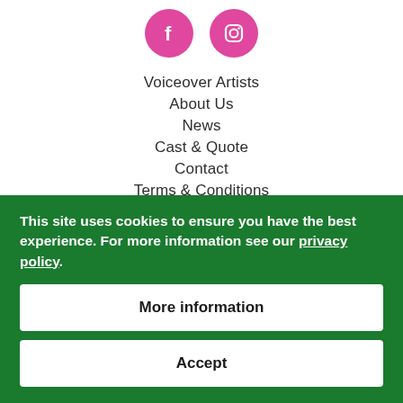[Figure (illustration): Two pink circular social media icons: Facebook (f) and Instagram (camera) side by side]
Voiceover Artists
About Us
News
Cast & Quote
Contact
Terms & Conditions
Privacy Policy
This site uses cookies to ensure you have the best experience. For more information see our privacy policy.
More information
Accept